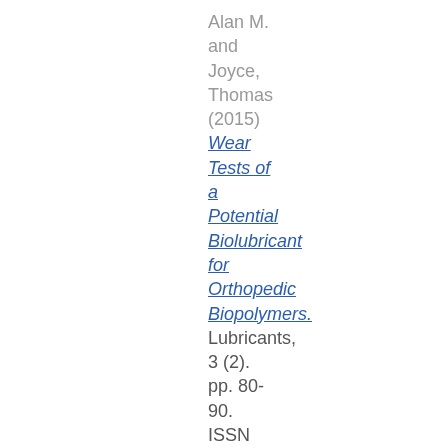Alan M. and Joyce, Thomas (2015) Wear Tests of a Potential Biolubricant for Orthopedic Biopolymers. Lubricants, 3 (2). pp. 80-90. ISSN 2075-4442